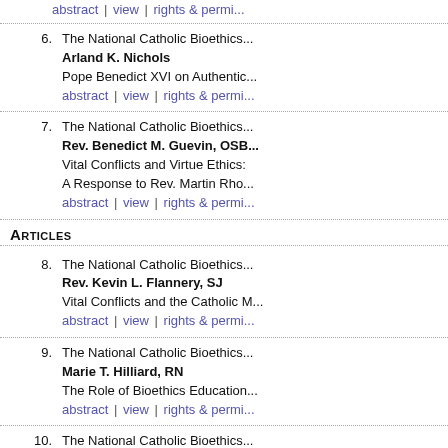abstract | view | rights & permissions
6. The National Catholic Bioethics
Arland K. Nichols
Pope Benedict XVI on Authentic...
abstract | view | rights & permissions
7. The National Catholic Bioethics
Rev. Benedict M. Guevin, OSB
Vital Conflicts and Virtue Ethics:
A Response to Rev. Martin Rho...
abstract | view | rights & permissions
Articles
8. The National Catholic Bioethics
Rev. Kevin L. Flannery, SJ
Vital Conflicts and the Catholic M...
abstract | view | rights & permissions
9. The National Catholic Bioethics
Marie T. Hilliard, RN
The Role of Bioethics Education...
abstract | view | rights & permissions
10. The National Catholic Bioethics
Mark F. Repenshek